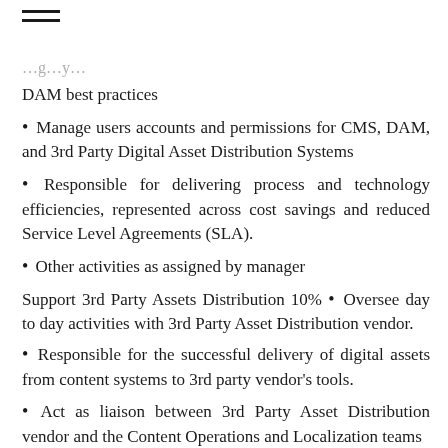≡
DAM best practices
Manage users accounts and permissions for CMS, DAM, and 3rd Party Digital Asset Distribution Systems
Responsible for delivering process and technology efficiencies, represented across cost savings and reduced Service Level Agreements (SLA).
Other activities as assigned by manager
Support 3rd Party Assets Distribution 10% • Oversee day to day activities with 3rd Party Asset Distribution vendor.
Responsible for the successful delivery of digital assets from content systems to 3rd party vendor's tools.
Act as liaison between 3rd Party Asset Distribution vendor and the Content Operations and Localization teams